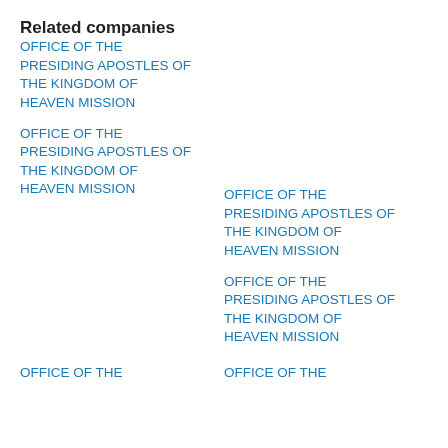Related companies
OFFICE OF THE PRESIDING APOSTLES OF THE KINGDOM OF HEAVEN MISSION
OFFICE OF THE PRESIDING APOSTLES OF THE KINGDOM OF HEAVEN MISSION
OFFICE OF THE PRESIDING APOSTLES OF THE KINGDOM OF HEAVEN MISSION
OFFICE OF THE PRESIDING APOSTLES OF THE KINGDOM OF HEAVEN MISSION
OFFICE OF THE
OFFICE OF THE